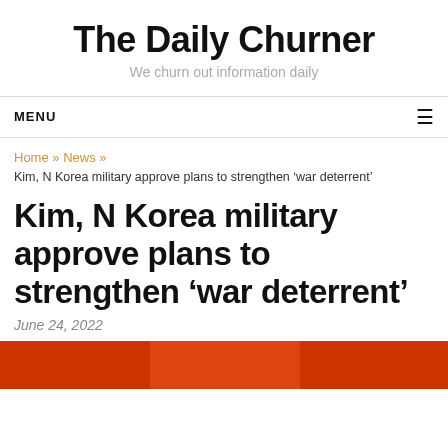The Daily Churner
We churn out information daily
MENU ≡
Home » News »
Kim, N Korea military approve plans to strengthen 'war deterrent'
Kim, N Korea military approve plans to strengthen 'war deterrent'
June 24, 2022
[Figure (photo): Bottom strip of a news article image, showing partial view of a colorful photograph related to the North Korea military story.]